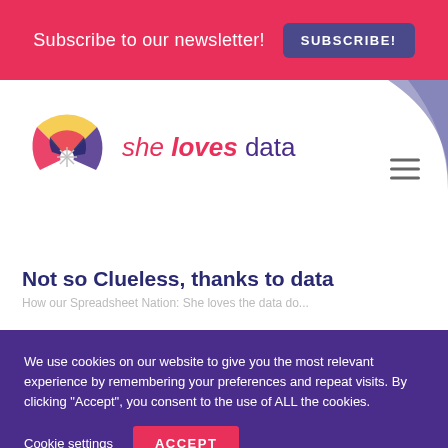Subscribe to our newsletter! SUBSCRIBE!
[Figure (logo): She Loves Data logo with colorful fan/radar icon and text 'she loves data']
Not so Clueless, thanks to data
We use cookies on our website to give you the most relevant experience by remembering your preferences and repeat visits. By clicking "Accept", you consent to the use of ALL the cookies.
Cookie settings | ACCEPT